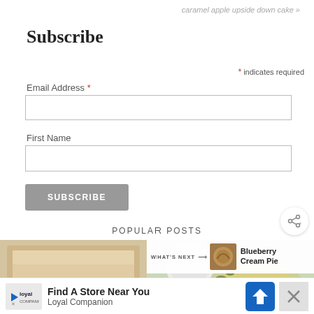caramel apple upside down cake »
Subscribe
* indicates required
Email Address *
First Name
SUBSCRIBE
POPULAR POSTS
[Figure (photo): Baking tray with cookies on parchment paper]
[Figure (photo): Overhead shot of food dish with herbs]
[Figure (photo): Small thumbnail of blueberry cream pie]
WHAT'S NEXT → Blueberry Cream Pie
Find A Store Near You Loyal Companion